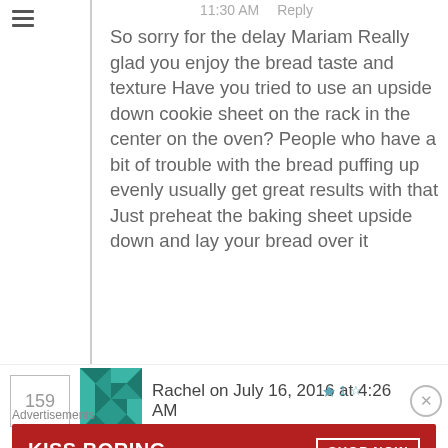11:30 AM   Reply
So sorry for the delay Mariam Really glad you enjoy the bread taste and texture Have you tried to use an upside down cookie sheet on the rack in the center on the oven? People who have a bit of trouble with the bread puffing up evenly usually get great results with that Just preheat the baking sheet upside down and lay your bread over it
159
Rachel on July 16, 2016 at 4:26 AM
Advertisements
[Figure (other): Macy's advertisement banner: KISS BORING LIPS GOODBYE with SHOP NOW button and Macy's logo on red background]